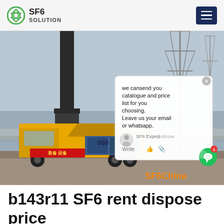SF6 SOLUTION
[Figure (photo): A yellow SF6 gas service truck parked at an electrical substation with power transmission towers and pipes in the background. A chat popup overlay is visible on the right side showing a message: 'we cansend you catalogue and price list for you choosing. Leave us your email or whatsapp.' with SF6 Expert label and 'justnow' timestamp. An orange 'SF6China' watermark appears at the bottom right.]
b143r11 SF6 rent dispose price